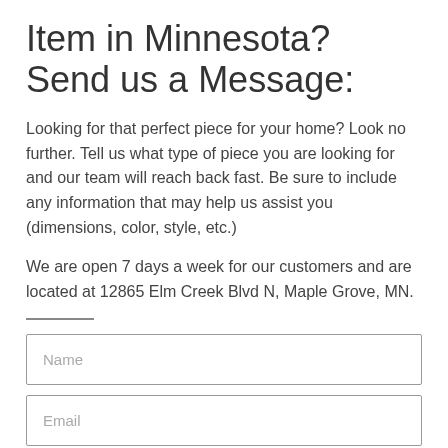Item in Minnesota? Send us a Message:
Looking for that perfect piece for your home? Look no further. Tell us what type of piece you are looking for and our team will reach back fast. Be sure to include any information that may help us assist you (dimensions, color, style, etc.)
We are open 7 days a week for our customers and are located at 12865 Elm Creek Blvd N, Maple Grove, MN.
Name (form field placeholder)
Email (form field placeholder)